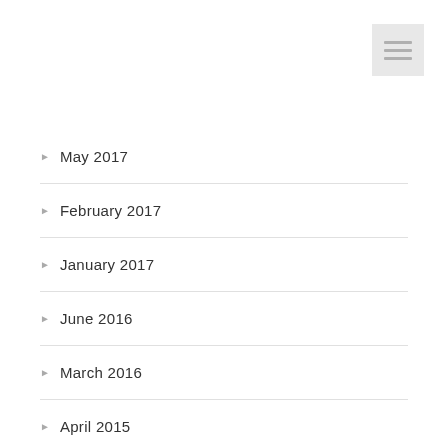[Figure (other): Hamburger menu icon with three horizontal lines on a light gray background, positioned in the top-right corner]
May 2017
February 2017
January 2017
June 2016
March 2016
April 2015
March 2015